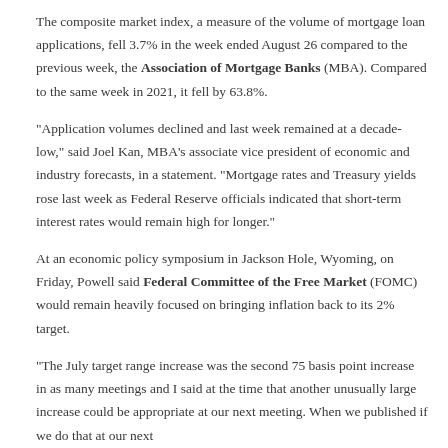The composite market index, a measure of the volume of mortgage loan applications, fell 3.7% in the week ended August 26 compared to the previous week, the Association of Mortgage Banks (MBA). Compared to the same week in 2021, it fell by 63.8%.
"Application volumes declined and last week remained at a decade-low," said Joel Kan, MBA's associate vice president of economic and industry forecasts, in a statement. "Mortgage rates and Treasury yields rose last week as Federal Reserve officials indicated that short-term interest rates would remain high for longer."
At an economic policy symposium in Jackson Hole, Wyoming, on Friday, Powell said Federal Committee of the Free Market (FOMC) would remain heavily focused on bringing inflation back to its 2% target.
"The July target range increase was the second 75 basis point increase in as many meetings and I said at the time that another unusually large increase could be appropriate at our next meeting. While the published if we do that at our next